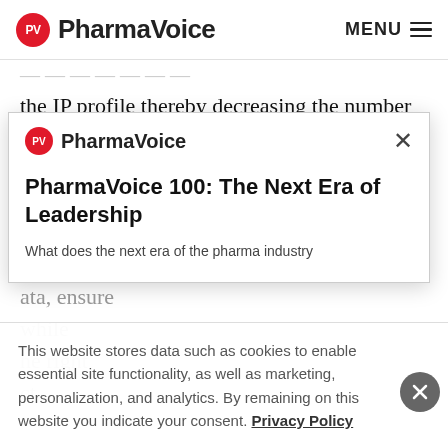PharmaVoice | MENU
the IP profile thereby decreasing the number of patients needed for a given trial and improving the success rate for meeting primary and secondary endpoints. All of the technologies play a key role in improving the speed to [data, ensure] [while] [he right] [ct.]
[Figure (screenshot): PharmaVoice modal popup with logo, close button, title 'PharmaVoice 100: The Next Era of Leadership', and description text 'What does the next era of the pharma industry']
This website stores data such as cookies to enable essential site functionality, as well as marketing, personalization, and analytics. By remaining on this website you indicate your consent. Privacy Policy